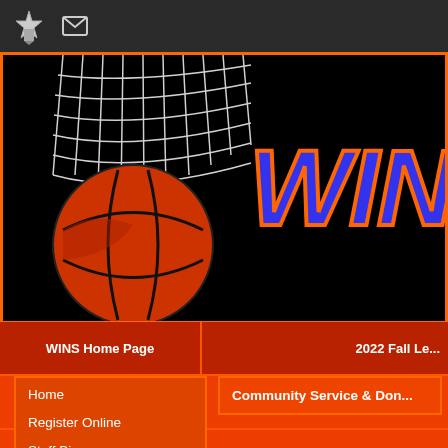Navigation bar with logo and email icon
[Figure (photo): Basketball going through a net on black background with large blue 'WIN' text with orange stroke on the right side]
WINS Home Page
2022 Fall Le...
Basketball Hall of Fame
2022 Fall Leag...
Summer Camps
WINS All Star...
Home
Register Online
Staff Bios
Community Service & Don...